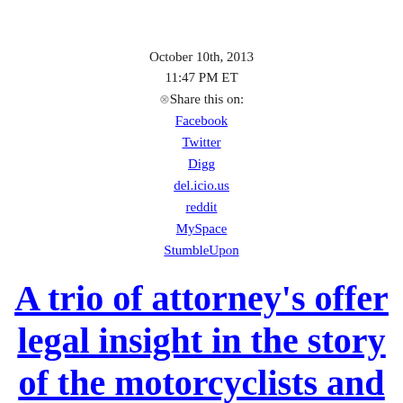October 10th, 2013
11:47 PM ET
⊗Share this on:
Facebook
Twitter
Digg
del.icio.us
reddit
MySpace
StumbleUpon
A trio of attorney's offer legal insight in the story of the motorcyclists and the SUV along Manhattan's West Side Highway